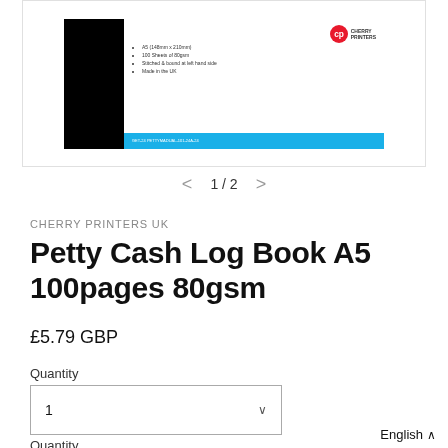[Figure (screenshot): Product image of Cherry Printers Petty Cash Log Book A5 showing the cover with blue and black design, bullet point specs, and Cherry Printers logo]
1 / 2
CHERRY PRINTERS UK
Petty Cash Log Book A5 100pages 80gsm
£5.79 GBP
Quantity
1
Quantity